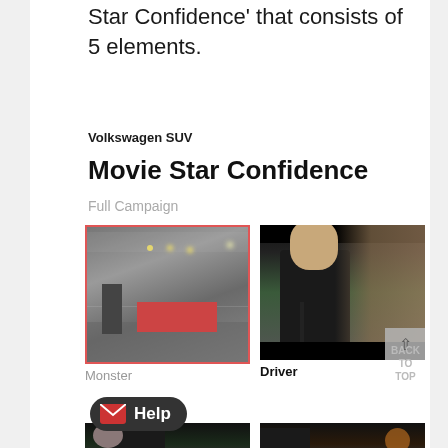Star Confidence' that consists of 5 elements.
Volkswagen SUV
Movie Star Confidence
Full Campaign
[Figure (photo): Video thumbnail with red border showing a foggy industrial or parking scene at night with a red truck, labeled 'Monster']
[Figure (photo): Video thumbnail showing a man in a black turtleneck holding a microphone, with blonde hair visible at right edge, labeled 'Driver'; has a back-to-top button overlay]
Monster
Driver
[Figure (screenshot): Help button overlay in dark rounded rectangle with envelope icon]
[Figure (photo): Partial video thumbnail at bottom left, dark scene with person in car]
[Figure (photo): Partial video thumbnail at bottom right, dark outdoor scene with orange/yellow light]